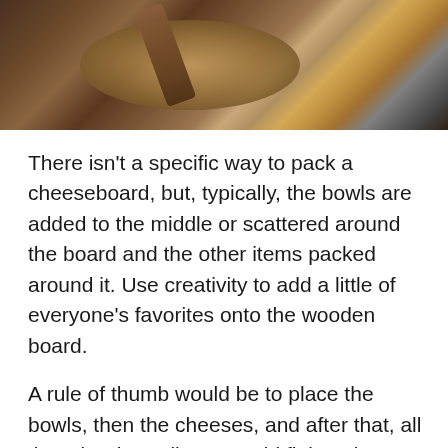[Figure (photo): Overhead photo of a wooden cheeseboard with meats, nuts, crackers, and a wooden-handled utensil on a dark wooden surface with a striped cloth in the corner.]
There isn't a specific way to pack a cheeseboard, but, typically, the bowls are added to the middle or scattered around the board and the other items packed around it. Use creativity to add a little of everyone's favorites onto the wooden board.
A rule of thumb would be to place the bowls, then the cheeses, and after that, all the other ingredients would fit into the open spaces. Roll up some cold meats and place them next to the cheese while adding smaller fruit and nuts.